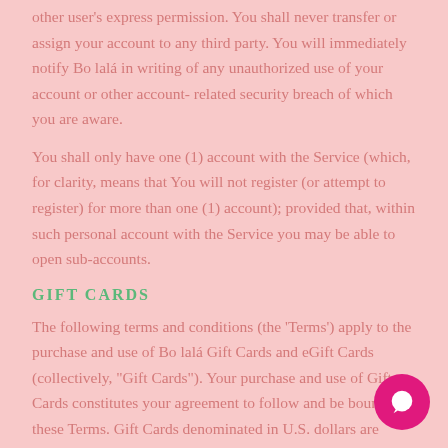other user's express permission. You shall never transfer or assign your account to any third party. You will immediately notify Bo lalá in writing of any unauthorized use of your account or other account- related security breach of which you are aware.
You shall only have one (1) account with the Service (which, for clarity, means that You will not register (or attempt to register) for more than one (1) account); provided that, within such personal account with the Service you may be able to open sub-accounts.
GIFT CARDS
The following terms and conditions (the 'Terms') apply to the purchase and use of Bo lalá Gift Cards and eGift Cards (collectively, "Gift Cards"). Your purchase and use of Gift Cards constitutes your agreement to follow and be bound by these Terms. Gift Cards denominated in U.S. dollars are issued by BOLALA, LLC. ("U.S. Gift Cards").